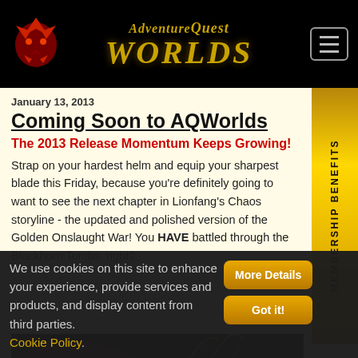[Figure (logo): AdventureQuest Worlds logo with golden stylized text and red dragon icon on black header bar, with hamburger menu button on right]
January 13, 2013
Coming Soon to AQWorlds
The 2013 Release Momentum Keeps Growing!
Strap on your hardest helm and equip your sharpest blade this Friday, because you're definitely going to want to see the next chapter in Lionfang's Chaos storyline - the updated and polished version of the Golden Onslaught War! You HAVE battled through the Blackhorn Tombs, right?
[Figure (screenshot): Dark brown and green game screenshot showing foliage or terrain]
MEMBERSHIP BENEFITS
We use cookies on this site to enhance your experience, provide services and products, and display content from third parties. Cookie Policy.